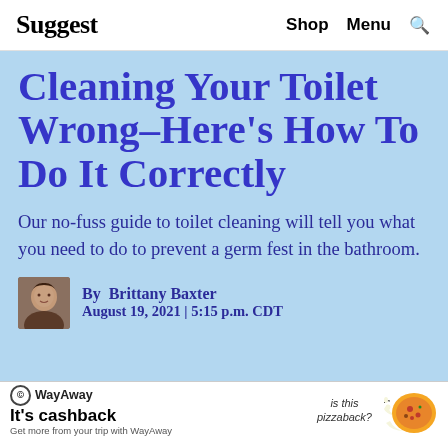Suggest  Shop  Menu  🔍
Cleaning Your Toilet Wrong–Here's How To Do It Correctly
Our no-fuss guide to toilet cleaning will tell you what you need to do to prevent a germ fest in the bathroom.
By  Brittany Baxter
August 19, 2021 | 5:15 p.m. CDT
[Figure (illustration): WayAway advertisement banner with logo, 'It's cashback' headline, 'Get more from your trip with WayAway' subtext, and cartoon pizza character on right side]